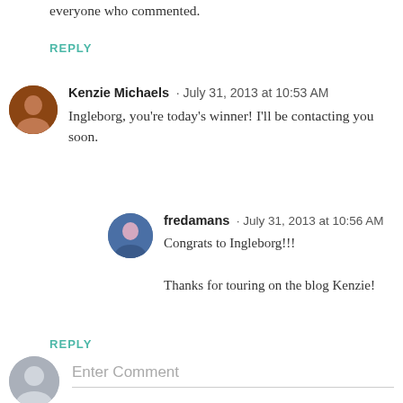everyone who commented.
REPLY
Kenzie Michaels · July 31, 2013 at 10:53 AM
Ingleborg, you're today's winner! I'll be contacting you soon.
fredamans · July 31, 2013 at 10:56 AM
Congrats to Ingleborg!!!

Thanks for touring on the blog Kenzie!
REPLY
Enter Comment